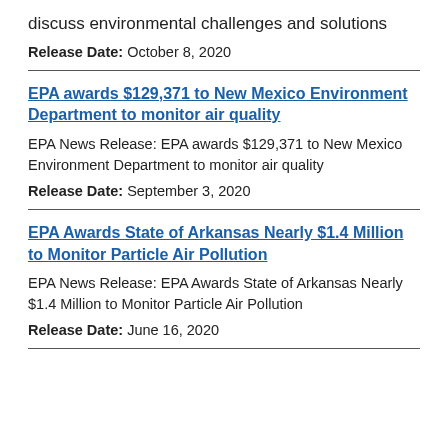discuss environmental challenges and solutions
Release Date: October 8, 2020
EPA awards $129,371 to New Mexico Environment Department to monitor air quality
EPA News Release: EPA awards $129,371 to New Mexico Environment Department to monitor air quality
Release Date: September 3, 2020
EPA Awards State of Arkansas Nearly $1.4 Million to Monitor Particle Air Pollution
EPA News Release: EPA Awards State of Arkansas Nearly $1.4 Million to Monitor Particle Air Pollution
Release Date: June 16, 2020